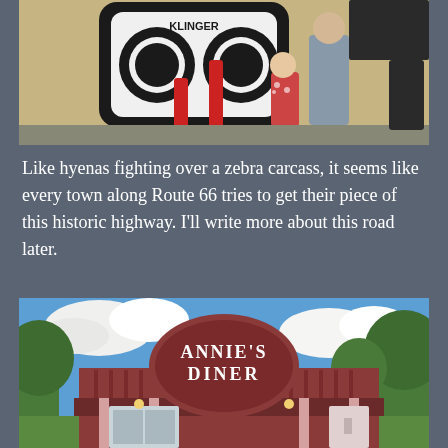[Figure (photo): Two people, an adult and a child, standing in front of a large Route 66 shield sign painted on a metal building wall, with red bollards in the foreground.]
Like hyenas fighting over a zebra carcass, it seems like every town along Route 66 tries to get their piece of this historic highway. I'll write more about this road later.
[Figure (photo): Annie's Diner, a small red building with a round marquee sign reading 'Annie's Diner', surrounded by green trees under a blue sky with white clouds.]